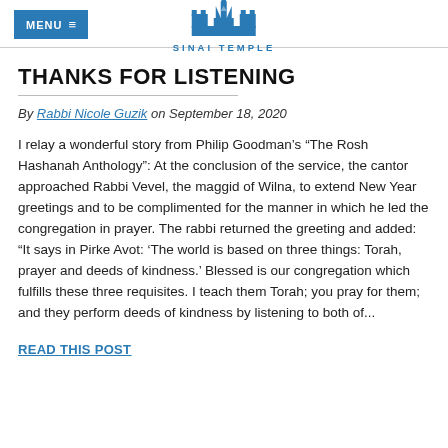MENU  ≡   SINAI TEMPLE
THANKS FOR LISTENING
By Rabbi Nicole Guzik on September 18, 2020
I relay a wonderful story from Philip Goodman’s “The Rosh Hashanah Anthology”: At the conclusion of the service, the cantor approached Rabbi Vevel, the maggid of Wilna, to extend New Year greetings and to be complimented for the manner in which he led the congregation in prayer. The rabbi returned the greeting and added: “It says in Pirke Avot: ‘The world is based on three things: Torah, prayer and deeds of kindness.’ Blessed is our congregation which fulfills these three requisites. I teach them Torah; you pray for them; and they perform deeds of kindness by listening to both of...
READ THIS POST